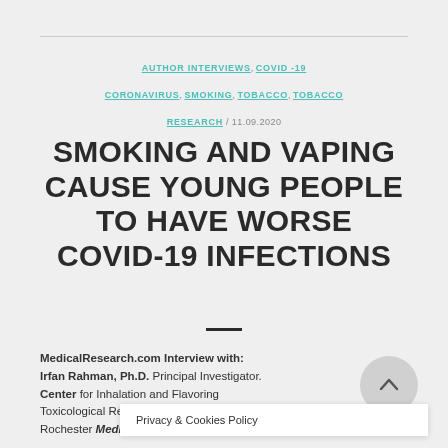AUTHOR INTERVIEWS, COVID -19 CORONAVIRUS, SMOKING, TOBACCO, TOBACCO RESEARCH / 11.09.2020
SMOKING AND VAPING CAUSE YOUNG PEOPLE TO HAVE WORSE COVID-19 INFECTIONS
MedicalResearch.com Interview with: Irfan Rahman, Ph.D. Principal Investigator. Center for Inhalation and Flavoring Toxicological Research at the University of Rochester Medical...the
Privacy & Cookies Policy